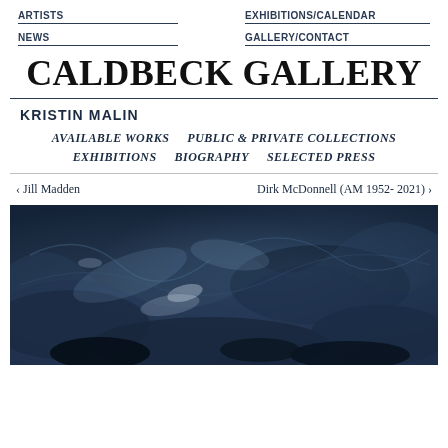ARTISTS | EXHIBITIONS/CALENDAR | NEWS | GALLERY/CONTACT
CALDBECK GALLERY
KRISTIN MALIN
AVAILABLE WORKS
PUBLIC & PRIVATE COLLECTIONS
EXHIBITIONS
BIOGRAPHY
SELECTED PRESS
‹ Jill Madden      Dirk McDonnell (AM 1952- 2021) ›
[Figure (photo): Abstract painting with dark blue and grey tones, swirling paint textures suggesting ocean or stormy water.]